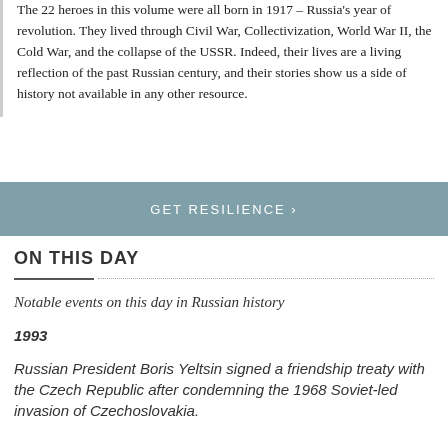The 22 heroes in this volume were all born in 1917 – Russia's year of revolution. They lived through Civil War, Collectivization, World War II, the Cold War, and the collapse of the USSR. Indeed, their lives are a living reflection of the past Russian century, and their stories show us a side of history not available in any other resource.
GET RESILIENCE ›
ON THIS DAY
Notable events on this day in Russian history
1993
Russian President Boris Yeltsin signed a friendship treaty with the Czech Republic after condemning the 1968 Soviet-led invasion of Czechoslovakia.